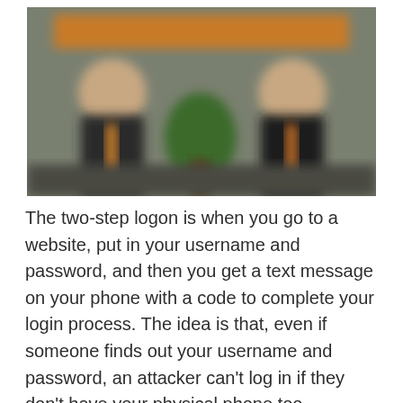[Figure (photo): A blurred photo of two people in a business or formal setting, standing on either side of a plant or greenery, with an orange banner or sign visible at the top.]
The two-step logon is when you go to a website, put in your username and password, and then you get a text message on your phone with a code to complete your login process. The idea is that, even if someone finds out your username and password, an attacker can't log in if they don't have your physical phone too.